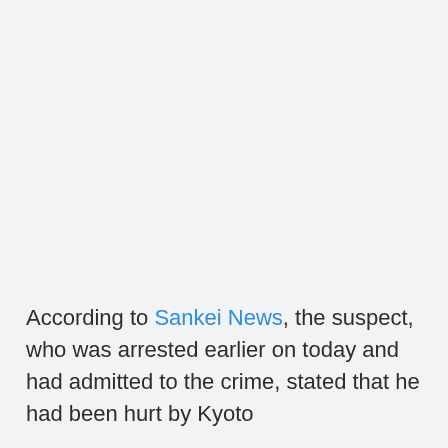According to Sankei News, the suspect, who was arrested earlier on today and had admitted to the crime, stated that he had been hurt by Kyoto